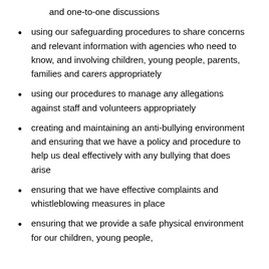and one-to-one discussions
using our safeguarding procedures to share concerns and relevant information with agencies who need to know, and involving children, young people, parents, families and carers appropriately
using our procedures to manage any allegations against staff and volunteers appropriately
creating and maintaining an anti-bullying environment and ensuring that we have a policy and procedure to help us deal effectively with any bullying that does arise
ensuring that we have effective complaints and whistleblowing measures in place
ensuring that we provide a safe physical environment for our children, young people,